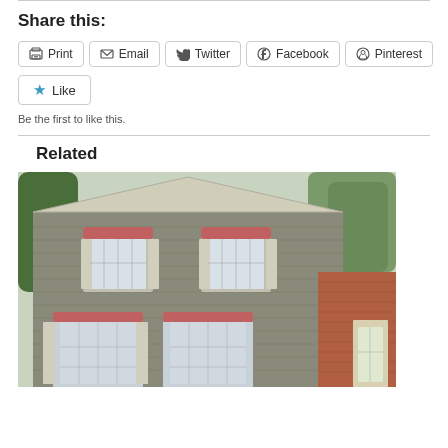Share this:
Print
Email
Twitter
Facebook
Pinterest
Like
Be the first to like this.
Related
[Figure (photo): Exterior of a stone building with arched windows and shutters, two stories visible, with trees in background]